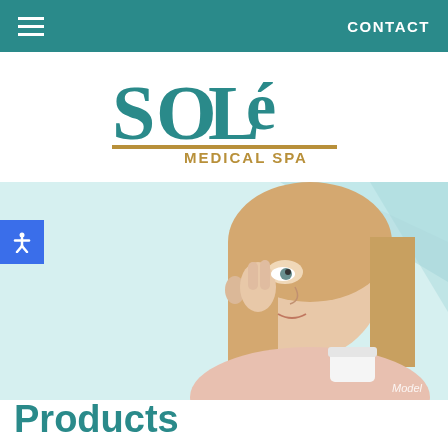CONTACT
[Figure (logo): Solé Medical Spa logo — teal stylized lettering 'SOLé' with gold underline accent and 'MEDICAL SPA' in gold below]
[Figure (photo): Middle-aged blonde woman applying face cream near her eye, holding a small jar, against a teal geometric background. Caption: Model]
Products